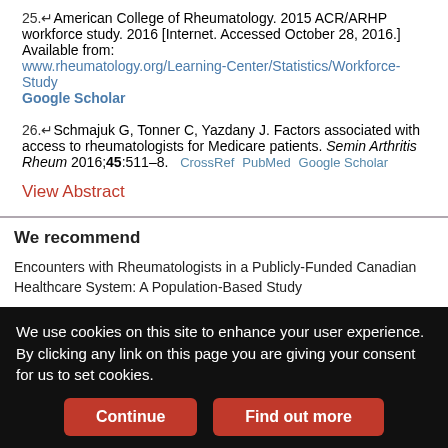25. American College of Rheumatology. 2015 ACR/ARHP workforce study. 2016 [Internet. Accessed October 28, 2016.] Available from: www.rheumatology.org/Learning-Center/Statistics/Workforce-Study Google Scholar
26. Schmajuk G, Tonner C, Yazdany J. Factors associated with access to rheumatologists for Medicare patients. Semin Arthritis Rheum 2016;45:511–8. CrossRef PubMed Google Scholar
View Abstract
We recommend
Encounters with Rheumatologists in a Publicly-Funded Canadian Healthcare System: A Population-Based Study
We use cookies on this site to enhance your user experience. By clicking any link on this page you are giving your consent for us to set cookies.